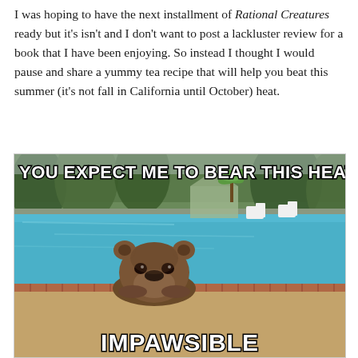I was hoping to have the next installment of Rational Creatures ready but it's isn't and I don't want to post a lackluster review for a book that I have been enjoying. So instead I thought I would pause and share a yummy tea recipe that will help you beat this summer (it's not fall in California until October) heat.
[Figure (photo): A meme image showing a bear in a swimming pool with text 'YOU EXPECT ME TO BEAR THIS HEAT?' at the top and 'IMPAWSIBLE' at the bottom. The bear is looking over the pool edge, and in the background there is a pool area with chairs, plants, and trees.]